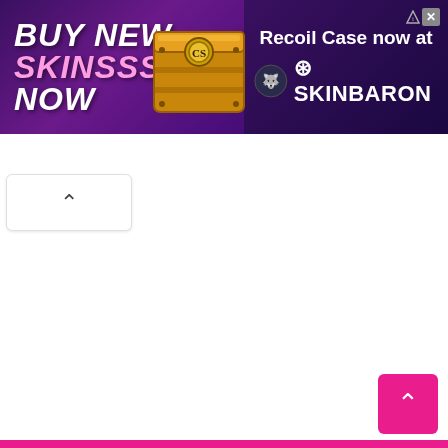[Figure (screenshot): Advertisement banner for SkinBaron gaming marketplace. Purple gradient background with bold white/pink text 'BUY NEW SKINSSS NOW' on the left, a golden loot crate in the center, and 'Recoil Case now at SKINBARON' with the SkinBaron wolf logo on the right. Ad choice icon and close button in top right corner.]
[Figure (screenshot): Small white rounded button with a upward-pointing chevron arrow, positioned below the ad banner on the left side.]
[Figure (screenshot): Pink/magenta square scroll-to-top button with white upward-pointing chevron arrow, positioned at bottom right of the page.]